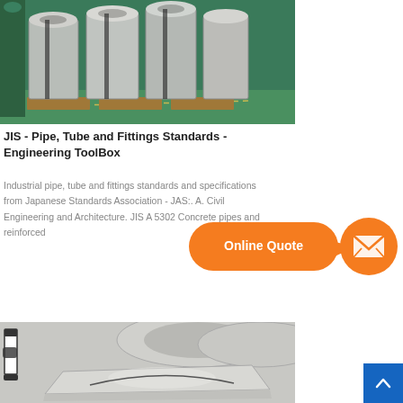[Figure (photo): Industrial warehouse with large steel coils stacked on pallets, green floor visible]
JIS - Pipe, Tube and Fittings Standards - Engineering ToolBox
Industrial pipe, tube and fittings standards and specifications from Japanese Standards Association - JAS:. A. Civil Engineering and Architecture. JIS A 5302 Concrete pipes and reinforced
[Figure (infographic): Orange speech bubble saying 'Online Quote' with arrow pointing to orange circle with envelope/email icon]
[Figure (photo): Person standing next to stacked galvanized steel sheets or plates in industrial setting]